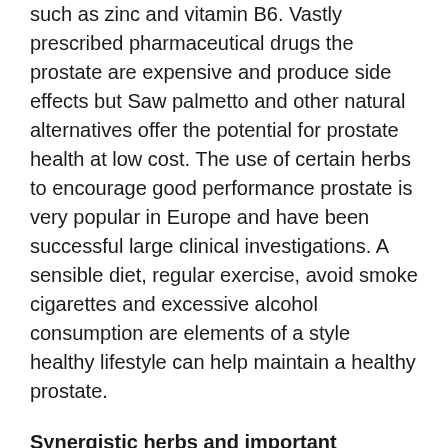such as zinc and vitamin B6. Vastly prescribed pharmaceutical drugs the prostate are expensive and produce side effects but Saw palmetto and other natural alternatives offer the potential for prostate health at low cost. The use of certain herbs to encourage good performance prostate is very popular in Europe and have been successful large clinical investigations. A sensible diet, regular exercise, avoid smoke cigarettes and excessive alcohol consumption are elements of a style healthy lifestyle can help maintain a healthy prostate.
Synergistic herbs and important nutrients are effective formula:
Reishi (ganoderma lucidum karst) in China known as zhi, a variety mushrooms that grow almost